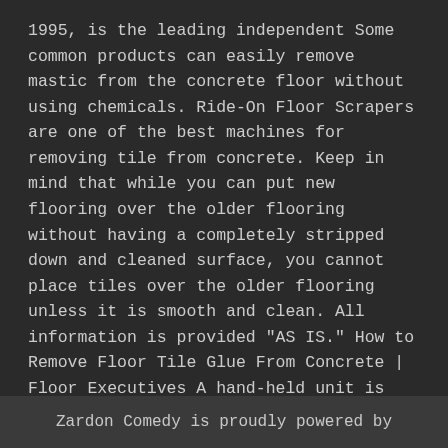1995, is the leading independent Some common products can easily remove mastic from the concrete floor without using chemicals. Ride-On Floor Scrapers are one of the best machines for removing tile from concrete. Keep in mind that while you can put new flooring over the older flooring without having a completely stripped down and cleaned surface, you cannot place tiles over the older flooring unless it is smooth and clean. All information is provided "AS IS." How to Remove Floor Tile Glue From Concrete | Floor Executives A hand-held unit is sometimes useful as a second removal tool to get into the tight spaces. If there is adhesive on your concrete floor, you will have a hard time dealing with it, especially if it has been stuck on there for some time. Being in the decorative
Zardon Comedy is proudly powered by